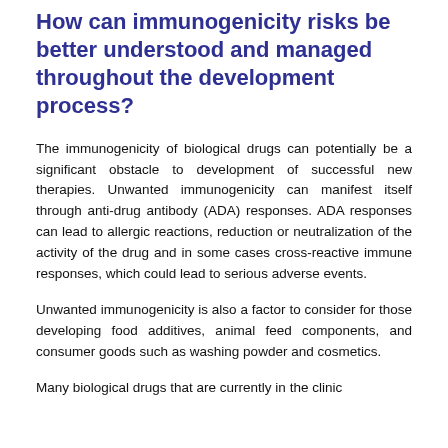How can immunogenicity risks be better understood and managed throughout the development process?
The immunogenicity of biological drugs can potentially be a significant obstacle to development of successful new therapies. Unwanted immunogenicity can manifest itself through anti-drug antibody (ADA) responses. ADA responses can lead to allergic reactions, reduction or neutralization of the activity of the drug and in some cases cross-reactive immune responses, which could lead to serious adverse events.
Unwanted immunogenicity is also a factor to consider for those developing food additives, animal feed components, and consumer goods such as washing powder and cosmetics.
Many biological drugs that are currently in the clinic